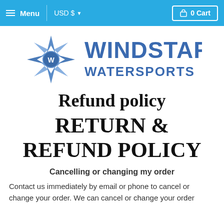Menu  USD $  0 Cart
[Figure (logo): Windstar Watersports logo with compass star graphic and blue text reading WINDSTAR WATERSPORTS]
Refund policy
RETURN & REFUND POLICY
Cancelling or changing my order
Contact us immediately by email or phone to cancel or change your order. We can cancel or change your order